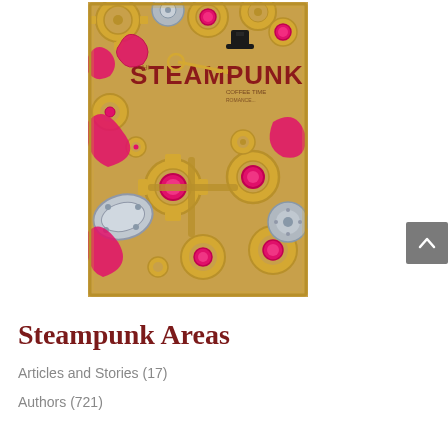[Figure (illustration): Book cover for a Steampunk coloring book with golden gears, pink gem-studded cogs, silver mechanical parts, and bold red 'STEAMPUNK' text with a top hat illustration on a tan/gold background.]
Steampunk Areas
Articles and Stories (17)
Authors (721)